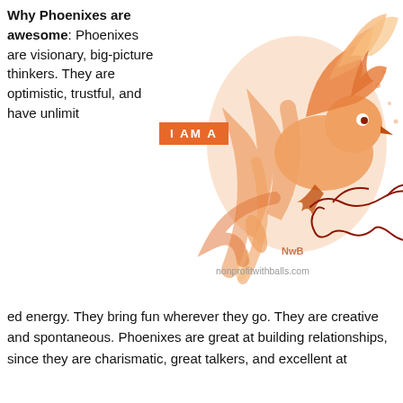Why Phoenixes are awesome: Phoenixes are visionary, big-picture thinkers. They are optimistic, trustful, and have unlimited energy. They bring fun wherever they go. They are creative and spontaneous. Phoenixes are great at building relationships, since they are charismatic, great talkers, and excellent at
[Figure (illustration): An orange illustrated phoenix bird with flames, wings spread, carrying a large feather. A cursive 'Phoenix' signature overlaps the image. An orange badge reads 'I AM A'. Attribution mark 'NwB' visible. Watermark: nonprofitwithballs.com]